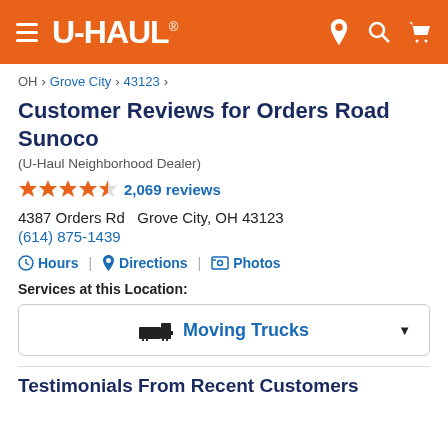U-HAUL
OH > Grove City > 43123 >
Customer Reviews for Orders Road Sunoco
(U-Haul Neighborhood Dealer)
4.5 stars — 2,069 reviews
4387 Orders Rd   Grove City, OH 43123
(614) 875-1439
Hours | Directions | Photos
Services at this Location:
Moving Trucks
Testimonials From Recent Customers